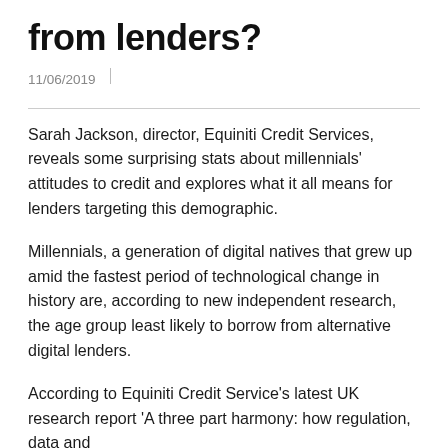from lenders?
11/06/2019
Sarah Jackson, director, Equiniti Credit Services, reveals some surprising stats about millennials' attitudes to credit and explores what it all means for lenders targeting this demographic.
Millennials, a generation of digital natives that grew up amid the fastest period of technological change in history are, according to new independent research, the age group least likely to borrow from alternative digital lenders.
According to Equiniti Credit Service's latest UK research report 'A three part harmony: how regulation, data and